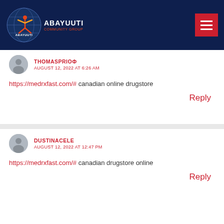ABAYUUTI COMMUNITY GROUP
THOMASPRIOФ
AUGUST 12, 2022 AT 6:26 AM
https://medrxfast.com/# canadian online drugstore
Reply
DUSTINACELE
AUGUST 12, 2022 AT 12:47 PM
https://medrxfast.com/# canadian drugstore online
Reply